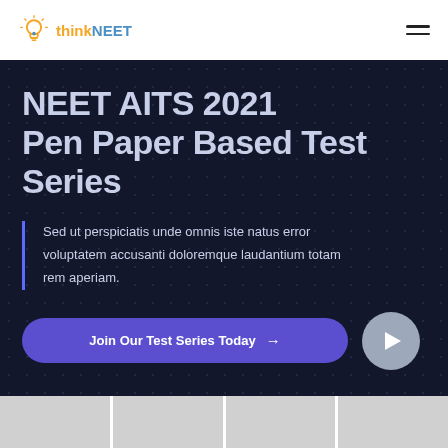thinkNEET
NEET AITS 2021 Pen Paper Based Test Series
Sed ut perspiciatis unde omnis iste natus error voluptatem accusanti doloremque laudantium totam rem aperiam.
Join Our Test Series Today →